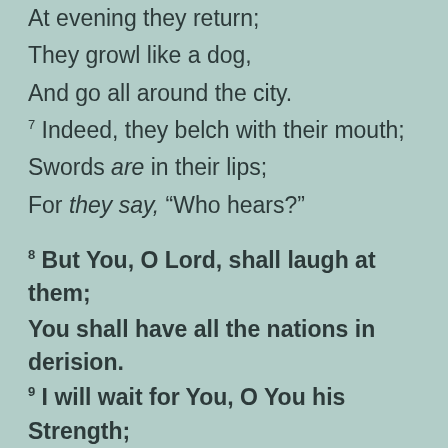At evening they return;
They growl like a dog,
And go all around the city.
7 Indeed, they belch with their mouth;
Swords are in their lips;
For they say, “Who hears?”
8 But You, O Lord, shall laugh at them;
You shall have all the nations in derision.
9 I will wait for You, O You his Strength;
For God is my defense.
10 My God of mercy shall come to meet me;
God shall let me see my desire on my enemies.